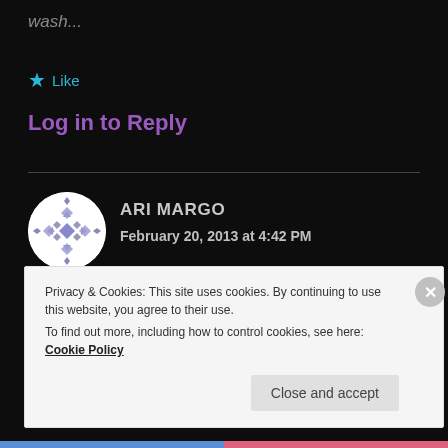wash...
★ Like
Log in to Reply
[Figure (illustration): Circular avatar with a purple/lavender geometric quilt-like snowflake pattern on white background]
ARI MARGO
February 20, 2013 at 4:42 PM
“A Final Fantasy title.” ...k.
Privacy & Cookies: This site uses cookies. By continuing to use this website, you agree to their use.
To find out more, including how to control cookies, see here: Cookie Policy
Close and accept